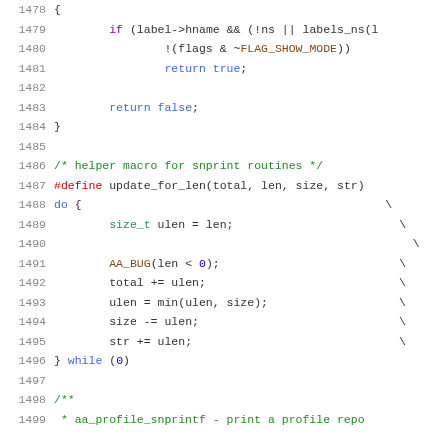[Figure (screenshot): Source code listing from a C file, lines 1478-1499, showing a function body with an if statement returning true, a return false statement, a helper macro comment, a #define macro for update_for_len, and a do-while block with size_t, AA_BUG, arithmetic operations. Also the beginning of a /** comment at line 1498-1499.]